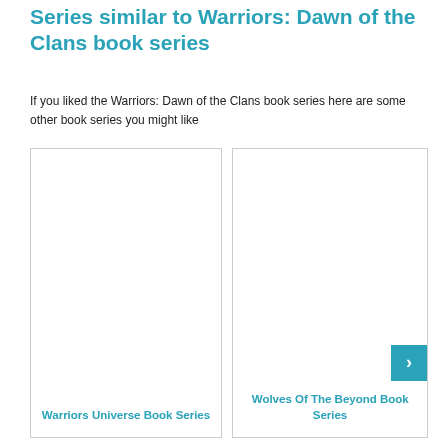Series similar to Warriors: Dawn of the Clans book series
If you liked the Warriors: Dawn of the Clans book series here are some other book series you might like
[Figure (illustration): Card for Warriors Universe Book Series — empty white card with teal label text at bottom]
[Figure (illustration): Partial card for Wolves Of The Beyond Book Series — partially visible, with teal next arrow button overlay]